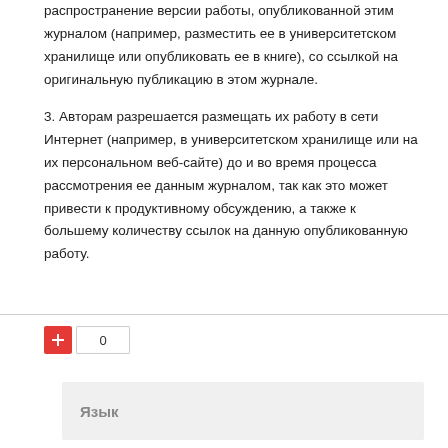распространение версии работы, опубликованной этим журналом (например, разместить ее в университетском хранилище или опубликовать ее в книге), со ссылкой на оригинальную публикацию в этом журнале.
3. Авторам разрешается размещать их работу в сети Интернет (например, в университетском хранилище или на их персональном веб-сайте) до и во время процесса рассмотрения ее данным журналом, так как это может привести к продуктивному обсуждению, а также к большему количеству ссылок на данную опубликованную работу.
0
Язык